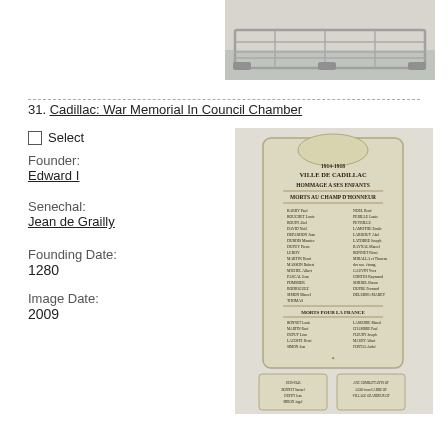[Figure (photo): Photo of a metal security barrier/railing on pavement, top right of page]
31. Cadillac: War Memorial In Council Chamber
Select
Founder:
Edward I
Senechal:
Jean de Grailly
Founding Date:
1280
Image Date:
2009
[Figure (photo): Photo of a war memorial plaque mounted on a wall inside a council chamber. The plaque reads: VILLE DE CADILLAC / HOMMAGE A SES ENFANTS / MORTS AU CHAMP D'HONNEUR / [list of names] / MORTS POUR LA FRANCE / [additional names]. Below the main plaque are two smaller plaques with additional names.]